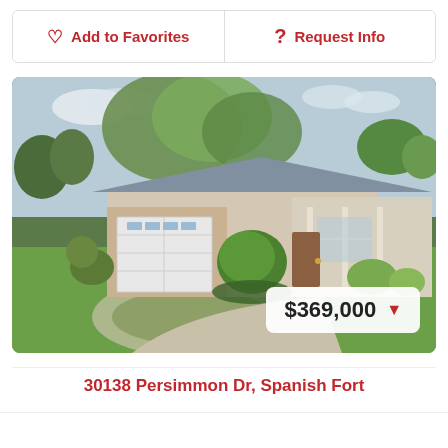Add to Favorites
Request Info
[Figure (photo): Exterior photo of a single-story brick home with a white garage door, circular driveway, manicured round trees, and a lush green lawn. Price badge showing $369,000 with a red downward arrow overlay in the bottom right.]
30138 Persimmon Dr, Spanish Fort